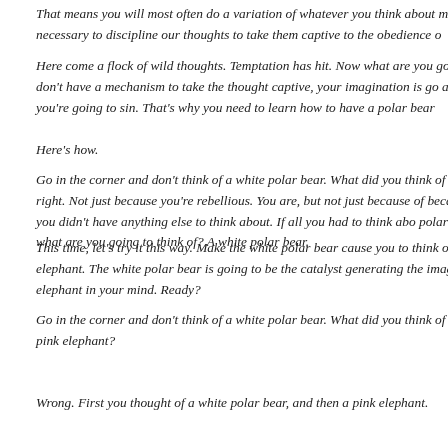That means you will most often do a variation of whatever you think about m it's necessary to discipline our thoughts to take them captive to the obedience o
Here come a flock of wild thoughts. Temptation has hit. Now what are you go you don't have a mechanism to take the thought captive, your imagination is go and you're going to sin. That's why you need to learn how to have a polar bear
Here's how.
Go in the corner and don't think of a white polar bear. What did you think of that's right. Not just because you're rebellious. You are, but not just because of because you didn't have anything else to think about. If all you had to think abo polar bear, what are you going to think of? A white polar bear.
This time, let's try it this way. Make the white polar bear cause you to think o elephant. The white polar bear is going to be the catalyst generating the image elephant in your mind. Ready?
Go in the corner and don't think of a white polar bear. What did you think of of a pink elephant?
Wrong. First you thought of a white polar bear, and then a pink elephant.